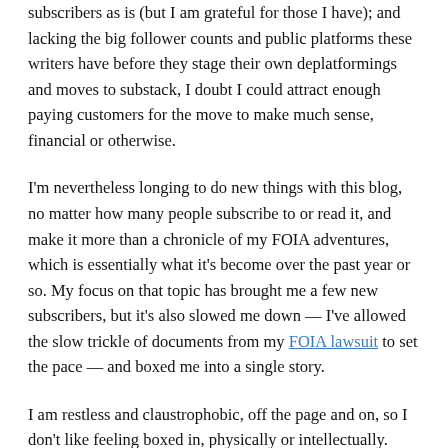subscribers as is (but I am grateful for those I have); and lacking the big follower counts and public platforms these writers have before they stage their own deplatformings and moves to substack, I doubt I could attract enough paying customers for the move to make much sense, financial or otherwise.
I'm nevertheless longing to do new things with this blog, no matter how many people subscribe to or read it, and make it more than a chronicle of my FOIA adventures, which is essentially what it's become over the past year or so. My focus on that topic has brought me a few new subscribers, but it's also slowed me down — I've allowed the slow trickle of documents from my FOIA lawsuit to set the pace — and boxed me into a single story.
I am restless and claustrophobic, off the page and on, so I don't like feeling boxed in, physically or intellectually. Besides, I've got other stories to tell and other projects that need my